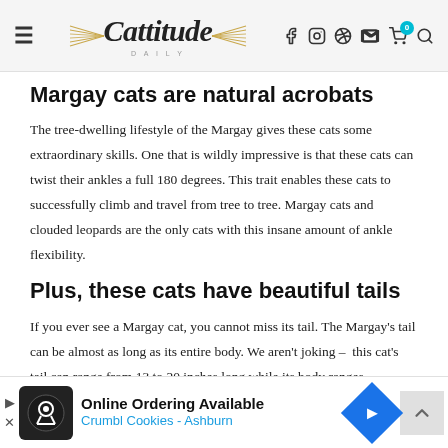Cattitude Daily — navigation header with logo and icons
Margay cats are natural acrobats
The tree-dwelling lifestyle of the Margay gives these cats some extraordinary skills. One that is wildly impressive is that these cats can twist their ankles a full 180 degrees. This trait enables these cats to successfully climb and travel from tree to tree. Margay cats and clouded leopards are the only cats with this insane amount of ankle flexibility.
Plus, these cats have beautiful tails
If you ever see a Margay cat, you cannot miss its tail. The Margay's tail can be almost as long as its entire body. We aren't joking –  this cat's tail can range from 13 to 20 inches long while its body ranges from 19...
[Figure (screenshot): Advertisement banner: Online Ordering Available — Crumbl Cookies - Ashburn, with play/close button, cookie icon, and navigation arrow]